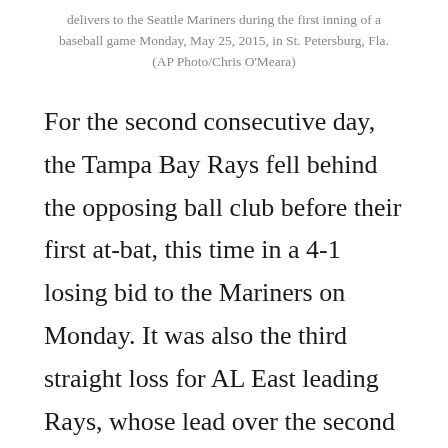delivers to the Seattle Mariners during the first inning of a baseball game Monday, May 25, 2015, in St. Petersburg, Fla. (AP Photo/Chris O'Meara)
For the second consecutive day, the Tampa Bay Rays fell behind the opposing ball club before their first at-bat, this time in a 4-1 losing bid to the Mariners on Monday. It was also the third straight loss for AL East leading Rays, whose lead over the second place Yankees was cut to a half game in the division.